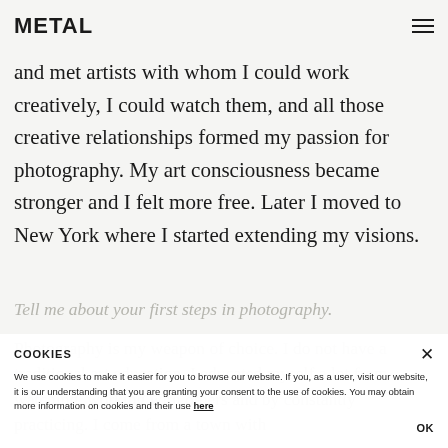METAL
and met artists with whom I could work creatively, I could watch them, and all those creative relationships formed my passion for photography. My art consciousness became stronger and I felt more free. Later I moved to New York where I started extending my visions.
Tell me about your first steps in photography.
Photography is my weapon of choice. I do not have a traditional art education. I educated myself a lot from watching, working with others and by constantly practicing. I come from a town with
COOKIES
We use cookies to make it easier for you to browse our website. If you, as a user, visit our website, it is our understanding that you are granting your consent to the use of cookies. You may obtain more information on cookies and their use here
OK